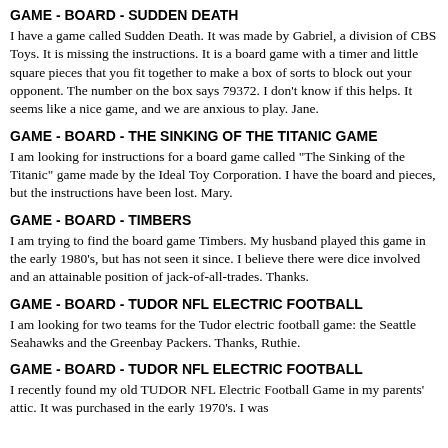GAME - BOARD - SUDDEN DEATH
I have a game called Sudden Death. It was made by Gabriel, a division of CBS Toys. It is missing the instructions. It is a board game with a timer and little square pieces that you fit together to make a box of sorts to block out your opponent. The number on the box says 79372. I don't know if this helps. It seems like a nice game, and we are anxious to play. Jane.
GAME - BOARD - THE SINKING OF THE TITANIC GAME
I am looking for instructions for a board game called "The Sinking of the Titanic" game made by the Ideal Toy Corporation. I have the board and pieces, but the instructions have been lost. Mary.
GAME - BOARD - TIMBERS
I am trying to find the board game Timbers. My husband played this game in the early 1980's, but has not seen it since. I believe there were dice involved and an attainable position of jack-of-all-trades. Thanks.
GAME - BOARD - TUDOR NFL ELECTRIC FOOTBALL
I am looking for two teams for the Tudor electric football game: the Seattle Seahawks and the Greenbay Packers. Thanks, Ruthie.
GAME - BOARD - TUDOR NFL ELECTRIC FOOTBALL
I recently found my old TUDOR NFL Electric Football Game in my parents' attic. It was purchased in the early 1970's. I was